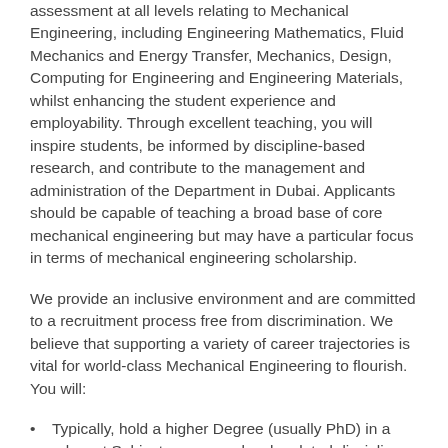assessment at all levels relating to Mechanical Engineering, including Engineering Mathematics, Fluid Mechanics and Energy Transfer, Mechanics, Design, Computing for Engineering and Engineering Materials, whilst enhancing the student experience and employability. Through excellent teaching, you will inspire students, be informed by discipline-based research, and contribute to the management and administration of the Department in Dubai. Applicants should be capable of teaching a broad base of core mechanical engineering but may have a particular focus in terms of mechanical engineering scholarship.
We provide an inclusive environment and are committed to a recruitment process free from discrimination. We believe that supporting a variety of career trajectories is vital for world-class Mechanical Engineering to flourish. You will:
Typically, hold a higher Degree (usually PhD) in a relevant Subject area or a closely related discipline or equivalent qualifications and experience.